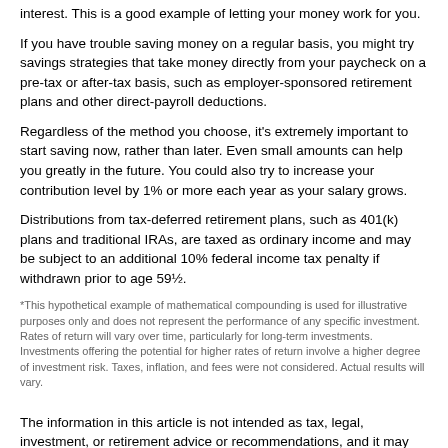interest. This is a good example of letting your money work for you.
If you have trouble saving money on a regular basis, you might try savings strategies that take money directly from your paycheck on a pre-tax or after-tax basis, such as employer-sponsored retirement plans and other direct-payroll deductions.
Regardless of the method you choose, it's extremely important to start saving now, rather than later. Even small amounts can help you greatly in the future. You could also try to increase your contribution level by 1% or more each year as your salary grows.
Distributions from tax-deferred retirement plans, such as 401(k) plans and traditional IRAs, are taxed as ordinary income and may be subject to an additional 10% federal income tax penalty if withdrawn prior to age 59½.
*This hypothetical example of mathematical compounding is used for illustrative purposes only and does not represent the performance of any specific investment. Rates of return will vary over time, particularly for long-term investments. Investments offering the potential for higher rates of return involve a higher degree of investment risk. Taxes, inflation, and fees were not considered. Actual results will vary.
The information in this article is not intended as tax, legal, investment, or retirement advice or recommendations, and it may not be relied on for the